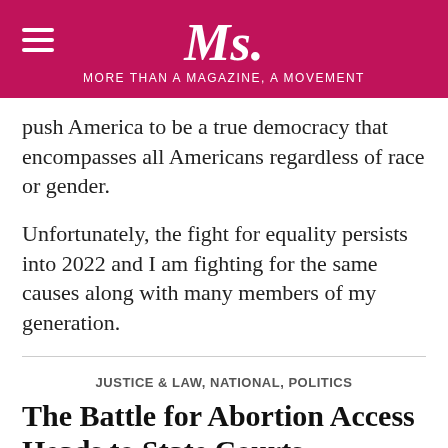Ms. MORE THAN A MAGAZINE, A MOVEMENT
push America to be a true democracy that encompasses all Americans regardless of race or gender.
Unfortunately, the fight for equality persists into 2022 and I am fighting for the same causes along with many members of my generation.
JUSTICE & LAW, NATIONAL, POLITICS
The Battle for Abortion Access Heads to State Courts
MICHELLE MOULTON